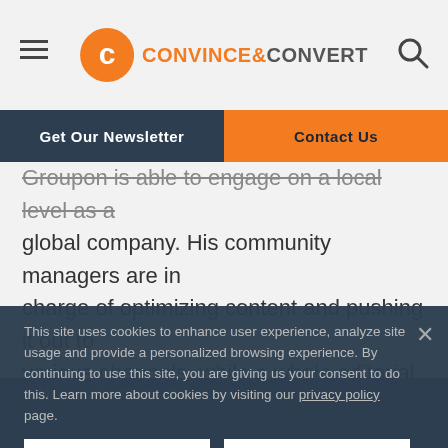Convince & Convert
Get Our Newsletter | Contact Us
Groupon is able to engage on a local level as a global company. His community managers are in charge of optimizing content and pushing it out to various channels, while a whole editorial staff creates content. He calls his employees who are in charge of strategy City Planners. They are the ones who understand what's happening in cities around the world and what deals might be appropriate for that city. They're tuned in to the culture so they can provide the content developers.
This site uses cookies to enhance user experience, analyze site usage and provide a personalized browsing experience. By continuing to use this site, you are giving us your consent to do this. Learn more about cookies by visiting our privacy policy page.